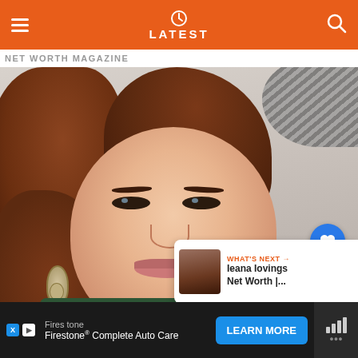LATEST
NET WORTH MAGAZINE (partial, cropped)
[Figure (photo): Portrait photo of a woman with auburn hair, wearing floral earrings and a dark green top, at what appears to be a red carpet or media event. A blue heart/like button showing count of 1 and a share button are overlaid on the right side. A 'WHAT'S NEXT' panel in the lower right shows a thumbnail and text 'Ieana Iovings Net Worth |...']
WHAT'S NEXT → Ieana Iovings Net Worth |...
Firestone
Firestone® Complete Auto Care
LEARN MORE